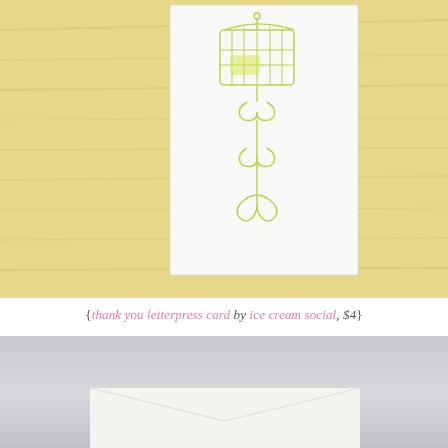[Figure (photo): Close-up photo of a white letterpress card on a yellow wood-grain surface. The card features a yellow-green letterpress illustration of a decorative bird cage on a tall ornate stand.]
{thank you letterpress card by ice cream social, $4}
[Figure (photo): Photo of a plain white envelope on a light gray/lavender background, partially visible at the bottom of the page.]